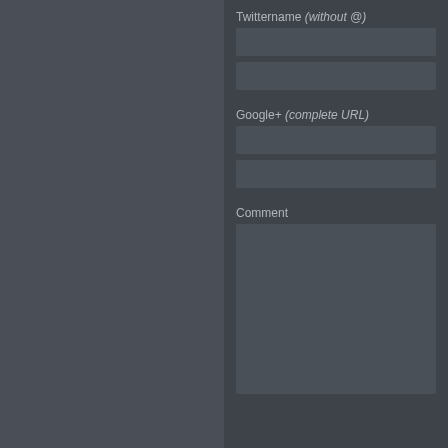Twittername (without @)
Google+ (complete URL)
Comment
You may use these HTML tags and attrib... <a href="" title=""> <abbr title=...